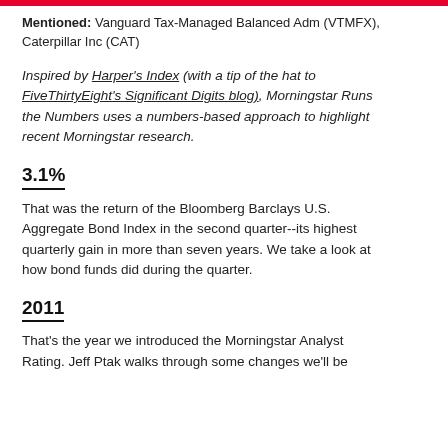Mentioned: Vanguard Tax-Managed Balanced Adm (VTMFX), Caterpillar Inc (CAT)
Inspired by Harper's Index (with a tip of the hat to FiveThirtyEight's Significant Digits blog), Morningstar Runs the Numbers uses a numbers-based approach to highlight recent Morningstar research.
3.1%
That was the return of the Bloomberg Barclays U.S. Aggregate Bond Index in the second quarter--its highest quarterly gain in more than seven years. We take a look at how bond funds did during the quarter.
2011
That's the year we introduced the Morningstar Analyst Rating. Jeff Ptak walks through some changes we'll be